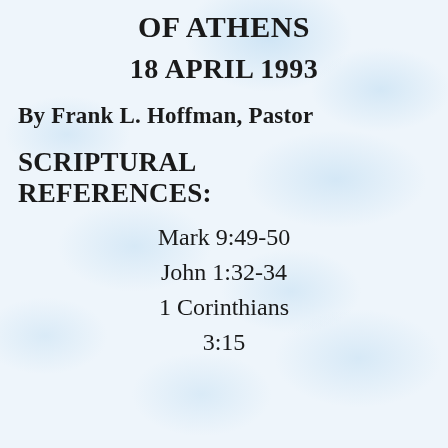OF ATHENS
18 APRIL 1993
By Frank L. Hoffman, Pastor
SCRIPTURAL REFERENCES:
Mark 9:49-50
John 1:32-34
1 Corinthians
3:15